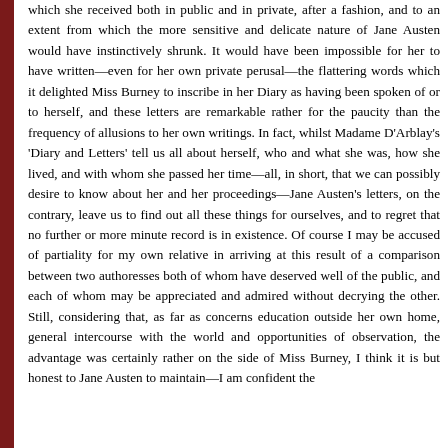which she received both in public and in private, after a fashion, and to an extent from which the more sensitive and delicate nature of Jane Austen would have instinctively shrunk. It would have been impossible for her to have written—even for her own private perusal—the flattering words which it delighted Miss Burney to inscribe in her Diary as having been spoken of or to herself, and these letters are remarkable rather for the paucity than the frequency of allusions to her own writings. In fact, whilst Madame D'Arblay's 'Diary and Letters' tell us all about herself, who and what she was, how she lived, and with whom she passed her time—all, in short, that we can possibly desire to know about her and her proceedings—Jane Austen's letters, on the contrary, leave us to find out all these things for ourselves, and to regret that no further or more minute record is in existence. Of course I may be accused of partiality for my own relative in arriving at this result of a comparison between two authoresses both of whom have deserved well of the public, and each of whom may be appreciated and admired without decrying the other. Still, considering that, as far as concerns education outside her own home, general intercourse with the world and opportunities of observation, the advantage was certainly rather on the side of Miss Burney, I think it is but honest to Jane Austen to maintain—I am confident the